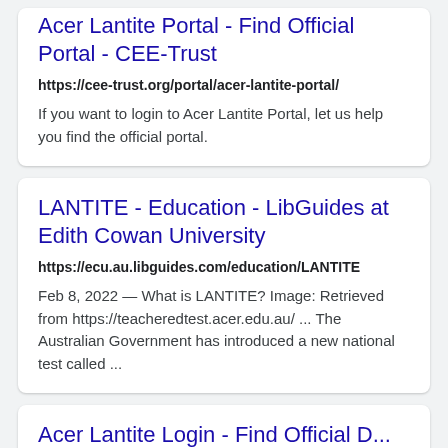Acer Lantite Portal - Find Official Portal - CEE-Trust
https://cee-trust.org/portal/acer-lantite-portal/
If you want to login to Acer Lantite Portal, let us help you find the official portal.
LANTITE - Education - LibGuides at Edith Cowan University
https://ecu.au.libguides.com/education/LANTITE
Feb 8, 2022 — What is LANTITE? Image: Retrieved from https://teacheredtest.acer.edu.au/ ... The Australian Government has introduced a new national test called ...
Acer Lantite Login - Find Official D...